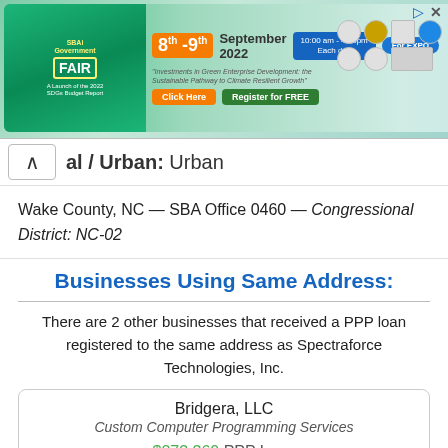[Figure (infographic): Advertisement banner for SBA SDCi Government Fair, 8th-9th September 2022, 10:00am - 4:00pm each day. Theme: Investments in Green Enterprise Development: the Sustainable Pathway to Climate Resilient Growth.]
al / Urban: Urban
Wake County, NC — SBA Office 0460 — Congressional District: NC-02
Businesses Using Same Address:
There are 2 other businesses that received a PPP loan registered to the same address as Spectraforce Technologies, Inc.
Bridgera, LLC
Custom Computer Programming Services
$273,360 PPP Loan
Leoforce, LLC
All Other Professional, Scientific, and Technical Services